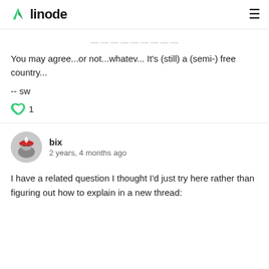linode
You may agree...or not...whatev... It's (still) a (semi-) free country...
-- sw
1
bix
2 years, 4 months ago
I have a related question I thought I'd just try here rather than figuring out how to explain in a new thread: